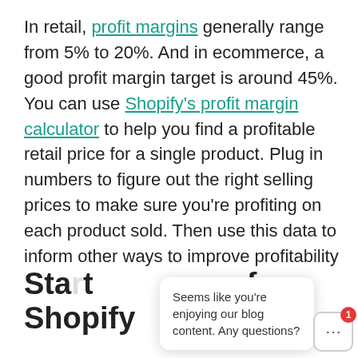In retail, profit margins generally range from 5% to 20%. And in ecommerce, a good profit margin target is around 45%. You can use Shopify's profit margin calculator to help you find a profitable retail price for a single product. Plug in numbers to figure out the right selling prices to make sure you're profiting on each product sold. Then use this data to inform other ways to improve profitability for your business.
Start your free trial of Shopify
Seems like you're enjoying our blog content. Any questions?